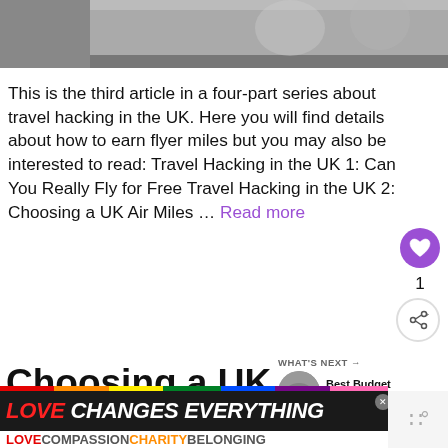[Figure (photo): Black and white photograph of people at a table, partially cropped at top of page]
This is the third article in a four-part series about travel hacking in the UK. Here you will find details about how to earn flyer miles but you may also be interested to read: Travel Hacking in the UK 1: Can You Really Fly for Free Travel Hacking in the UK 2: Choosing a UK Air Miles ... Read more
Choosing a UK Air Miles Credit Card
[Figure (photo): Small circular thumbnail photo of hands, next to WHAT'S NEXT label and Best Budget Accommodati... text]
[Figure (other): Advertisement banner: LOVE CHANGES EVERYTHING with rainbow stripe, LOVE COMPASSION CHARITY BELONGING tagline, and Wendy's logo]